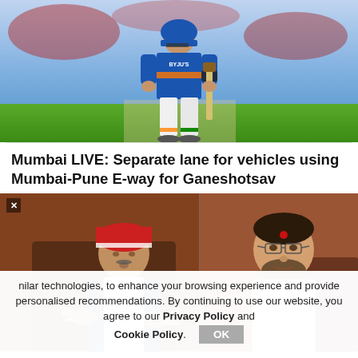[Figure (photo): Cricket player wearing India BYJU'S jersey (blue) with bat, standing on green pitch, blurred background]
Mumbai LIVE: Separate lane for vehicles using Mumbai-Pune E-way for Ganeshotsav
[Figure (photo): Two politicians: left — man in red cap and blue vest gesturing, right — man with red bindi and glasses, both in formal setting]
nilar technologies, to enhance your browsing experience and provide personalised recommendations. By continuing to use our website, you agree to our Privacy Policy and Cookie Policy.